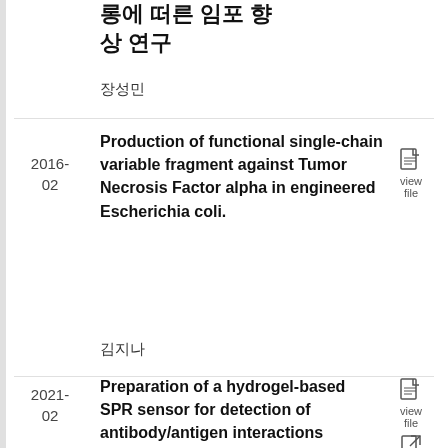롱에 떠른 임포 향상 연구
장성민
2016-02
Production of functional single-chain variable fragment against Tumor Necrosis Factor alpha in engineered Escherichia coli.
view file
김지나
2021-02
Preparation of a hydrogel-based SPR sensor for detection of antibody/antigen interactions
view file
link
Jie Ying Teoh